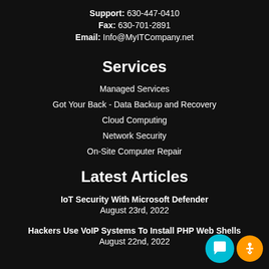Support: 630-447-0410
Fax: 630-701-2891
Email: Info@MyITCompany.net
Services
Managed Services
Got Your Back - Data Backup and Recovery
Cloud Computing
Network Security
On-Site Computer Repair
Latest Articles
IoT Security With Microsoft Defender
August 23rd, 2022
Hackers Use VoIP Systems To Install PHP Web Shells
August 22nd, 2022